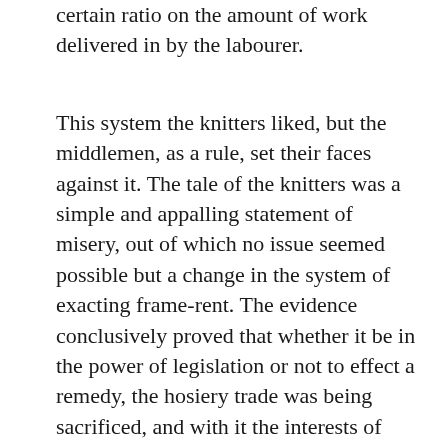certain ratio on the amount of work delivered in by the labourer.
This system the knitters liked, but the middlemen, as a rule, set their faces against it. The tale of the knitters was a simple and appalling statement of misery, out of which no issue seemed possible but a change in the system of exacting frame-rent. The evidence conclusively proved that whether it be in the power of legislation or not to effect a remedy, the hosiery trade was being sacrificed, and with it the interests of thousands of labourers, to the greed of the hirers out of the tool necessary for the manufacture. The report of the committee clearly indicated the conflicting currents in the trade and their fatal results. Parliament shrank, however, from the task, at once so delicate and so complicated, in attempting to reconcile under this new guise the